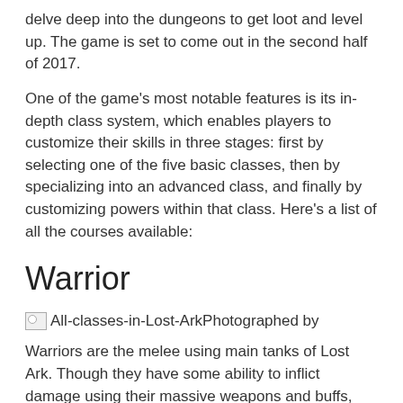delve deep into the dungeons to get loot and level up. The game is set to come out in the second half of 2017.
One of the game's most notable features is its in-depth class system, which enables players to customize their skills in three stages: first by selecting one of the five basic classes, then by specializing into an advanced class, and finally by customizing powers within that class. Here's a list of all the courses available:
Warrior
[Figure (photo): Broken image placeholder labeled All-classes-in-Lost-Ark with caption text 'Photographed by']
Warriors are the melee using main tanks of Lost Ark. Though they have some ability to inflict damage using their massive weapons and buffs, their real strength is being able to survive in the frontlines and shrug off